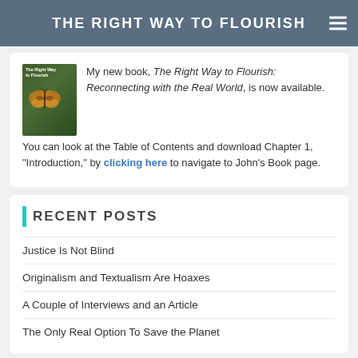THE RIGHT WAY TO FLOURISH
My new book, The Right Way to Flourish: Reconnecting with the Real World, is now available. You can look at the Table of Contents and download Chapter 1, "Introduction," by clicking here to navigate to John's Book page.
RECENT POSTS
Justice Is Not Blind
Originalism and Textualism Are Hoaxes
A Couple of Interviews and an Article
The Only Real Option To Save the Planet